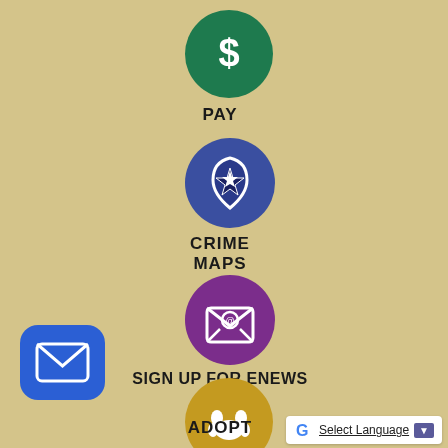[Figure (infographic): Green circle icon with white dollar sign - PAY button]
PAY
[Figure (infographic): Blue circle icon with white police badge and star - CRIME MAPS button]
CRIME MAPS
[Figure (infographic): Purple circle icon with envelope and @ symbol - SIGN UP FOR ENEWS button]
SIGN UP FOR ENEWS
[Figure (infographic): Gold/amber circle icon with white paw print - ADOPT button]
ADOPT
[Figure (infographic): Blue rounded square with white envelope - mail/contact button]
[Figure (infographic): Google G logo with Select Language dropdown]
Select Language